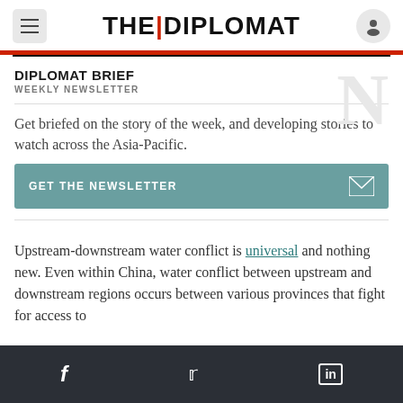THE DIPLOMAT
DIPLOMAT BRIEF
WEEKLY NEWSLETTER
Get briefed on the story of the week, and developing stories to watch across the Asia-Pacific.
GET THE NEWSLETTER
Upstream-downstream water conflict is universal and nothing new. Even within China, water conflict between upstream and downstream regions occurs between various provinces that fight for access to
f  twitter  in